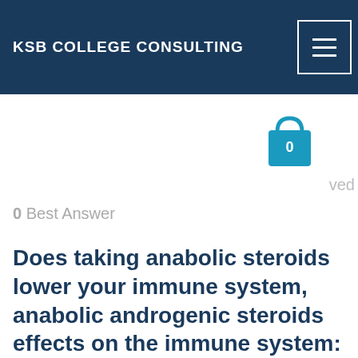KSB COLLEGE CONSULTING
0
ved
0 Best Answer
Does taking anabolic steroids lower your immune system, anabolic androgenic steroids effects on the immune system: a review
Does taking anabolic steroids lower your immune system, anabolic androgenic steroids effects on the immune system: a